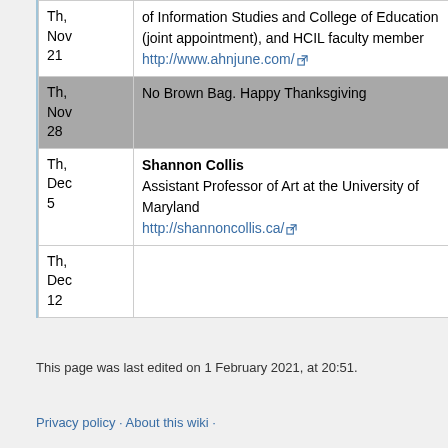| Date | Speaker/Event |
| --- | --- |
| Th, Nov 21 | of Information Studies and College of Education (joint appointment), and HCIL faculty member http://www.ahnjune.com/ |
| Th, Nov 28 | No Brown Bag. Happy Thanksgiving |
| Th, Dec 5 | Shannon Collis
Assistant Professor of Art at the University of Maryland
http://shannoncollis.ca/ |
| Th, Dec 12 |  |
This page was last edited on 1 February 2021, at 20:51.